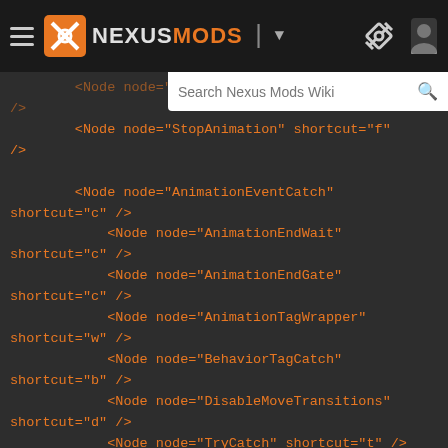NexusMods header with search overlay
[Figure (screenshot): Nexus Mods wiki page header showing hamburger menu, NexusMods logo, dropdown arrow, wrench/tools icon, user profile icon, and a search box overlay reading 'Search Nexus Mods Wiki']
<Node node="PlayAnimationBia..." shortcut="5"
/>
        <Node node="StopAnimation" shortcut="f"
/>

        <Node node="AnimationEventCatch"
shortcut="c" />
            <Node node="AnimationEndWait"
shortcut="c" />
            <Node node="AnimationEndGate"
shortcut="c" />
            <Node node="AnimationTagWrapper"
shortcut="w" />
            <Node node="BehaviorTagCatch"
shortcut="b" />
            <Node node="DisableMoveTransitions"
shortcut="d" />
            <Node node="TryCatch" shortcut="t" />
    </Group>


        <!-- Combat -->
        <Group name="Combat" shortcut="o"
icon="EnableCombatGrid">


            <Group name="Actions" shortcut="a"
icon="WeaponAttack">